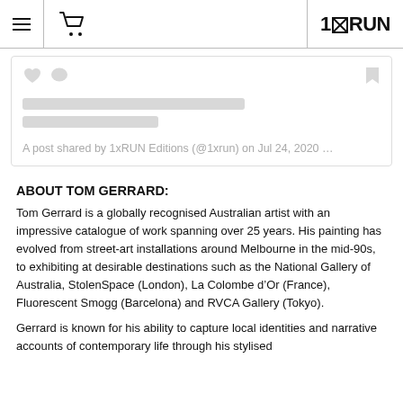1xRUN navigation bar with hamburger menu, cart icon, and 1xRUN logo
[Figure (screenshot): Instagram embed placeholder showing heart and comment icons, two grey loading bars, and caption text: A post shared by 1xRUN Editions (@1xrun) on Jul 24, 2020 ...]
ABOUT TOM GERRARD:
Tom Gerrard is a globally recognised Australian artist with an impressive catalogue of work spanning over 25 years. His painting has evolved from street-art installations around Melbourne in the mid-90s, to exhibiting at desirable destinations such as the National Gallery of Australia, StolenSpace (London), La Colombe d’Or (France), Fluorescent Smogg (Barcelona) and RVCA Gallery (Tokyo).
Gerrard is known for his ability to capture local identities and narrative accounts of contemporary life through his stylised